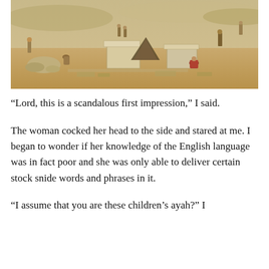[Figure (illustration): A painted illustration of an ancient archaeological excavation site in a desert setting. Several figures are visible among ruins and large stone blocks. The scene appears to depict workers or people at an ancient Middle Eastern or Egyptian dig site, with sandy terrain and pale rocky structures.]
“Lord, this is a scandalous first impression,” I said.
The woman cocked her head to the side and stared at me. I began to wonder if her knowledge of the English language was in fact poor and she was only able to deliver certain stock snide words and phrases in it.
“I assume that you are these children’s ayah?” I